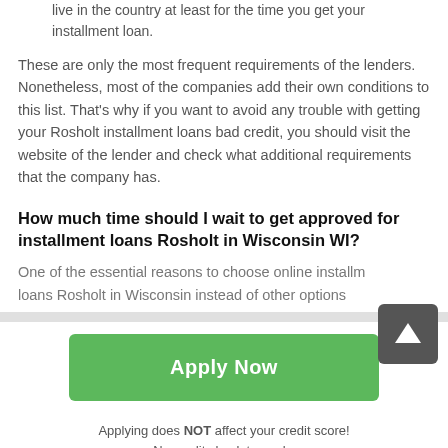live in the country at least for the time you get your installment loan.
These are only the most frequent requirements of the lenders. Nonetheless, most of the companies add their own conditions to this list. That's why if you want to avoid any trouble with getting your Rosholt installment loans bad credit, you should visit the website of the lender and check what additional requirements that the company has.
How much time should I wait to get approved for installment loans Rosholt in Wisconsin WI?
One of the essential reasons to choose online installment loans Rosholt in Wisconsin instead of other options
Apply Now
Applying does NOT affect your credit score!
No credit check to apply.